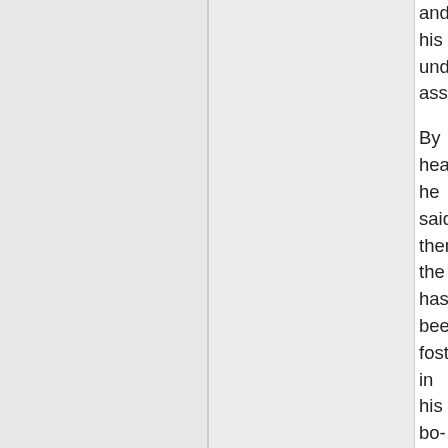and his undesirable associa-
By heaven, he said, then the has been fostering in his bo- he will find that he is weak a-
Why, you do not mean to sa- What! beat his father if he o-
Yes, he will, having first disa-
Then he is a parricide, and a and this is real tyranny, abo- as the saying is, the people the slavery of freemen, has of slaves. Thus liberty, gettin- passes into the harshest an-
True, he said.
Very well; and may we not r-